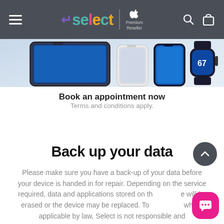select | Apple Premium Reseller
[Figure (screenshot): Apple devices (iPad, iPhone, Apple Watch) displayed in a light blue promotional banner]
Book an appointment now
Terms and conditions apply.
Back up your data
Please make sure you have a back-up of your data before your device is handed in for repair. Depending on the service required, data and applications stored on the device will be erased or the device may be replaced. To the extent where applicable by law, Select is not responsible and